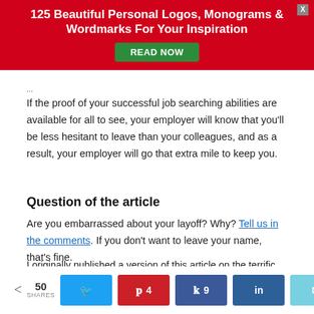[Figure (infographic): Red advertisement banner: '125 Beautiful Personal Logos, Monograms & Wordmarks For Your Inspiration' with green READ NOW button and grey X close button]
If the proof of your successful job searching abilities are available for all to see, your employer will know that you'll be less hesitant to leave than your colleagues, and as a result, your employer will go that extra mile to keep you.
Question of the article
Are you embarrassed about your layoff? Why? Tell us in the comments. If you don't want to leave your name, that's fine.
I originally published a version of this article on the terrific Personal Branding Blog.
50 SHARES  [share buttons: Twitter, Pinterest 4, Facebook 9, LinkedIn, Email]